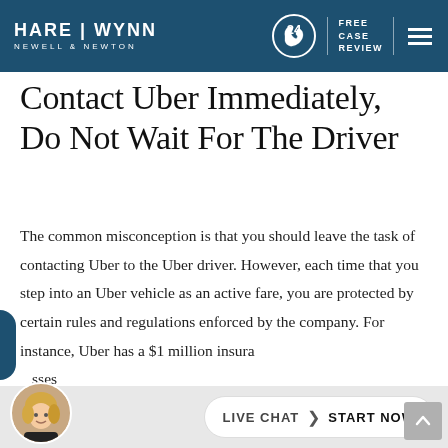HARE | WYNN NEWELL & NEWTON — FREE CASE REVIEW
Contact Uber Immediately, Do Not Wait For The Driver
The common misconception is that you should leave the task of contacting Uber to the Uber driver. However, each time that you step into an Uber vehicle as an active fare, you are protected by certain rules and regulations enforced by the company. For instance, Uber has a $1 million insurance policy that covers losses